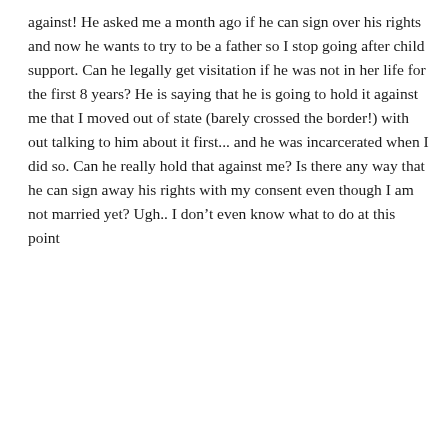against! He asked me a month ago if he can sign over his rights and now he wants to try to be a father so I stop going after child support. Can he legally get visitation if he was not in her life for the first 8 years? He is saying that he is going to hold it against me that I moved out of state (barely crossed the border!) with out talking to him about it first... and he was incarcerated when I did so. Can he really hold that against me? Is there any way that he can sign away his rights with my consent even though I am not married yet? Ugh.. I don't even know what to do at this point
Reply